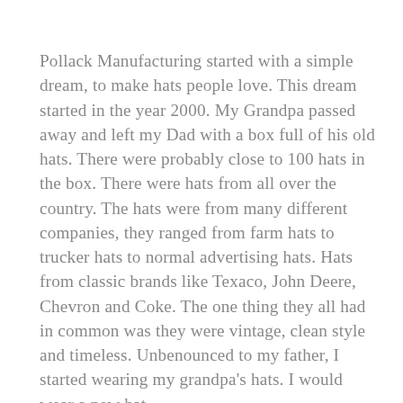Pollack Manufacturing started with a simple dream, to make hats people love. This dream started in the year 2000. My Grandpa passed away and left my Dad with a box full of his old hats. There were probably close to 100 hats in the box. There were hats from all over the country. The hats were from many different companies, they ranged from farm hats to trucker hats to normal advertising hats. Hats from classic brands like Texaco, John Deere, Chevron and Coke. The one thing they all had in common was they were vintage, clean style and timeless. Unbenounced to my father, I started wearing my grandpa's hats. I would wear a new hat